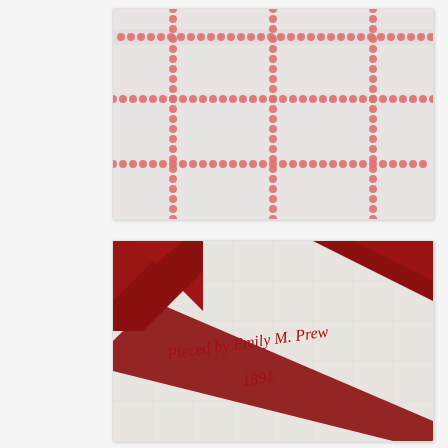[Figure (photo): Close-up of a quilt with a grid pattern made of small red/pink dots or circles forming a lattice design on a white background]
[Figure (photo): Close-up of a red and white quilt with embroidered cursive text reading 'Pieced by Emily M. Prew 1891' on the white fabric area, with red triangular patchwork pieces visible]